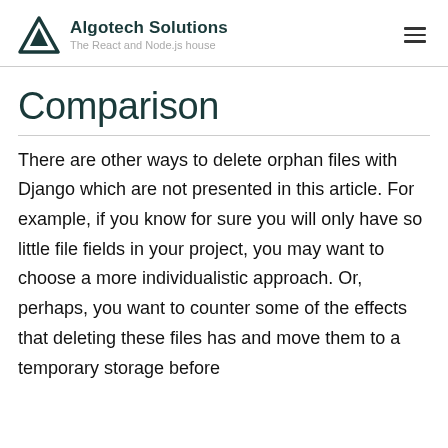Algotech Solutions – The React and Node.js house
Comparison
There are other ways to delete orphan files with Django which are not presented in this article. For example, if you know for sure you will only have so little file fields in your project, you may want to choose a more individualistic approach. Or, perhaps, you want to counter some of the effects that deleting these files has and move them to a temporary storage before permanently deleting them.